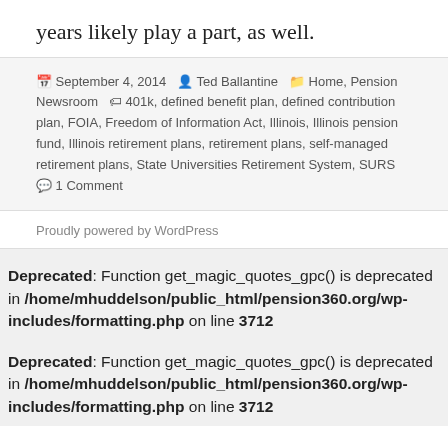years likely play a part, as well.
September 4, 2014  Ted Ballantine  Home, Pension Newsroom  401k, defined benefit plan, defined contribution plan, FOIA, Freedom of Information Act, Illinois, Illinois pension fund, Illinois retirement plans, retirement plans, self-managed retirement plans, State Universities Retirement System, SURS  1 Comment
Proudly powered by WordPress
Deprecated: Function get_magic_quotes_gpc() is deprecated in /home/mhuddelson/public_html/pension360.org/wp-includes/formatting.php on line 3712
Deprecated: Function get_magic_quotes_gpc() is deprecated in /home/mhuddelson/public_html/pension360.org/wp-includes/formatting.php on line 3712